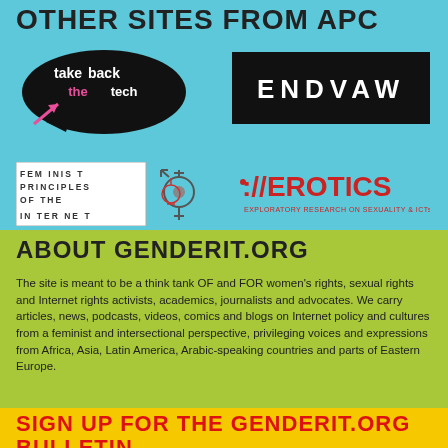OTHER SITES FROM APC
[Figure (logo): Take Back the Tech logo - black speech bubble with pink arrow and white text]
[Figure (logo): ENDVAW logo - white bold letters on black background]
[Figure (logo): Feminist Principles of the Internet logo with transgender symbol]
[Figure (logo): ://EROTICS - Exploratory Research on Sexuality & ICTs logo in red]
ABOUT GENDERIT.ORG
The site is meant to be a think tank OF and FOR women's rights, sexual rights and Internet rights activists, academics, journalists and advocates. We carry articles, news, podcasts, videos, comics and blogs on Internet policy and cultures from a feminist and intersectional perspective, privileging voices and expressions from Africa, Asia, Latin America, Arabic-speaking countries and parts of Eastern Europe.
SIGN UP FOR THE GENDERIT.ORG BULLETIN